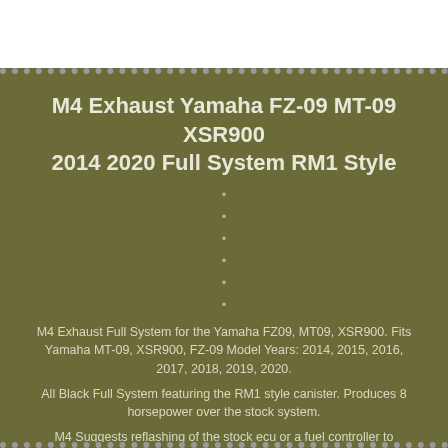M4 Exhaust Yamaha FZ-09 MT-09 XSR900 2014 2020 Full System RM1 Style
•
•
•
•
•
•
M4 Exhaust Full System for the Yamaha FZ09, MT09, XSR900. Fits Yamaha MT-09, XSR900, FZ-09 Model Years: 2014, 2015, 2016, 2017, 2018, 2019, 2020.
All Black Full System featuring the RM1 style canister. Produces 8 horsepower over the stock system.
M4 Suggests reflashing of the stock ecu or a fuel controller to maximize power output. 304 Stainless steel tubing with high temp ceramic coating.
A: The simplest way to gain performance is with an aftermarket